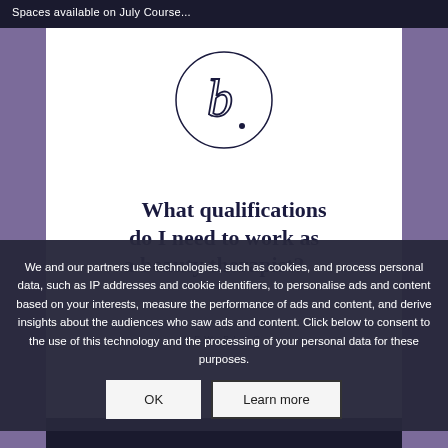Spaces available on July Course...
[Figure (logo): Circular logo with stylized cursive letter B and a dot]
What qualifications do I need to work as a beauty therapist?
NEW BLOG
We and our partners use technologies, such as cookies, and process personal data, such as IP addresses and cookie identifiers, to personalise ads and content based on your interests, measure the performance of ads and content, and derive insights about the audiences who saw ads and content. Click below to consent to the use of this technology and the processing of your personal data for these purposes.
OK
Learn more